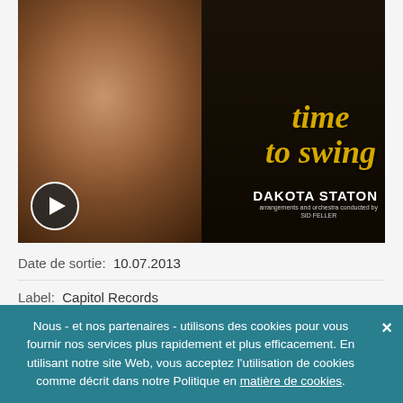[Figure (photo): Album cover for 'Time to Swing' by Dakota Staton. Shows a woman smiling and looking upward on the left, with yellow italic text 'time to swing' and white bold text 'DAKOTA STATON' on a dark background. A play button overlay is visible at the bottom left.]
Date de sortie:  10.07.2013
Label:  Capitol Records
Nous - et nos partenaires - utilisons des cookies pour vous fournir nos services plus rapidement et plus efficacement. En utilisant notre site Web, vous acceptez l'utilisation de cookies comme décrit dans notre Politique en matière de cookies.